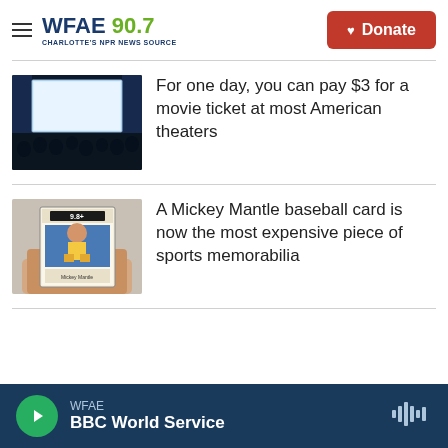WFAE 90.7 — Charlotte's NPR News Source | Donate
[Figure (photo): Movie theater audience with a bright white screen, dark silhouettes of people watching]
For one day, you can pay $3 for a movie ticket at most American theaters
[Figure (photo): Hand holding a Mickey Mantle 1952 baseball card graded 9.8]
A Mickey Mantle baseball card is now the most expensive piece of sports memorabilia
WFAE — BBC World Service